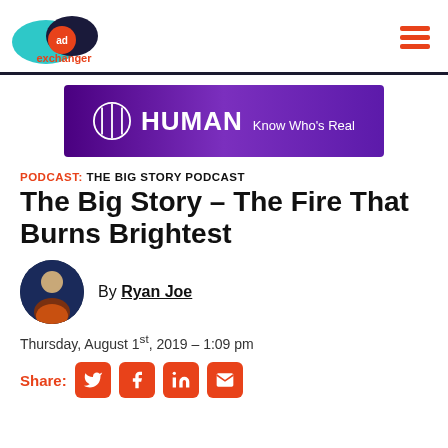AdExchanger logo and navigation
[Figure (advertisement): HUMAN - Know Who's Real purple banner advertisement]
PODCAST: THE BIG STORY PODCAST
The Big Story – The Fire That Burns Brightest
By Ryan Joe
Thursday, August 1st, 2019 – 1:09 pm
Share: